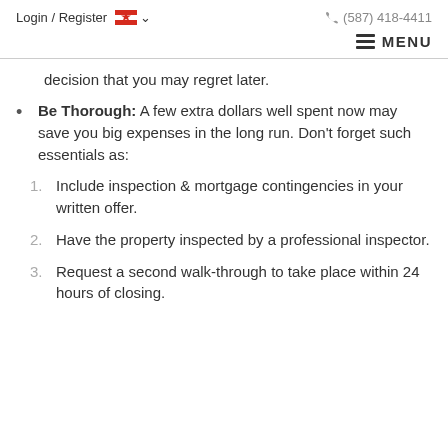Login / Register  🇨🇦 ▾    📞 (587) 418-4411
≡ MENU
decision that you may regret later.
Be Thorough: A few extra dollars well spent now may save you big expenses in the long run. Don't forget such essentials as:
1. Include inspection & mortgage contingencies in your written offer.
2. Have the property inspected by a professional inspector.
3. Request a second walk-through to take place within 24 hours of closing.